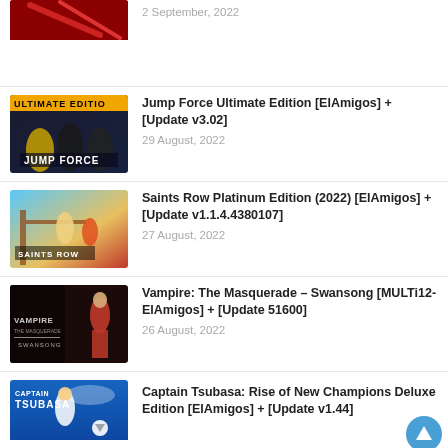2 September, 2022 (partial entry at top)
[Figure (photo): Partial game cover thumbnail at top of page]
Jump Force Ultimate Edition [ElAmigos] + [Update v3.02] — 29 August, 2022
[Figure (photo): Jump Force Ultimate Edition game cover showing anime characters]
Saints Row Platinum Edition (2022) [ElAmigos] + [Update v1.1.4.4380107] — 27 August, 2022
[Figure (photo): Saints Row Platinum Edition 2022 game cover]
Vampire: The Masquerade – Swansong [MULTi12-ElAmigos] + [Update 51600] — 26 August, 2022
[Figure (photo): Vampire: The Masquerade Swansong game cover]
Captain Tsubasa: Rise of New Champions Deluxe Edition [ElAmigos] + [Update v1.44]
[Figure (photo): Captain Tsubasa: Rise of New Champions game cover]